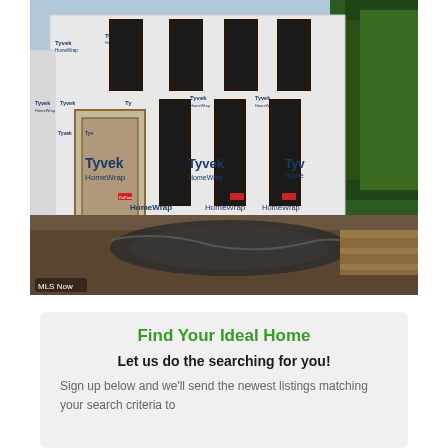[Figure (photo): Photo of a house under construction wrapped in Tyvek HomeWrap building wrap, showing multiple dark-framed windows, with dirt ground in foreground and trees on the right. MLS Now watermark in lower left.]
Find Your Ideal Home
Let us do the searching for you!
Sign up below and we'll send the newest listings matching your search criteria to